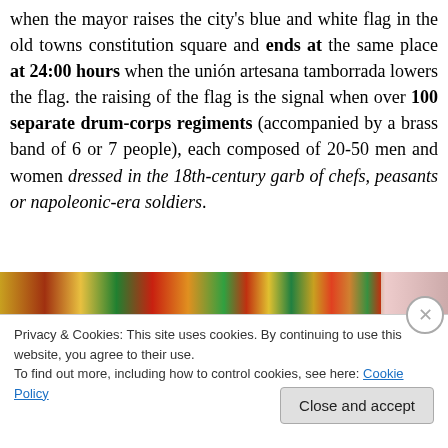when the mayor raises the city's blue and white flag in the old towns constitution square and ends at the same place at 24:00 hours when the unión artesana tamborrada lowers the flag. the raising of the flag is the signal when over 100 separate drum-corps regiments (accompanied by a brass band of 6 or 7 people), each composed of 20-50 men and women dressed in the 18th-century garb of chefs, peasants or napoleonic-era soldiers.
[Figure (photo): Colorful crowd photo showing people in festive costumes, partially visible]
Privacy & Cookies: This site uses cookies. By continuing to use this website, you agree to their use.
To find out more, including how to control cookies, see here: Cookie Policy
Close and accept